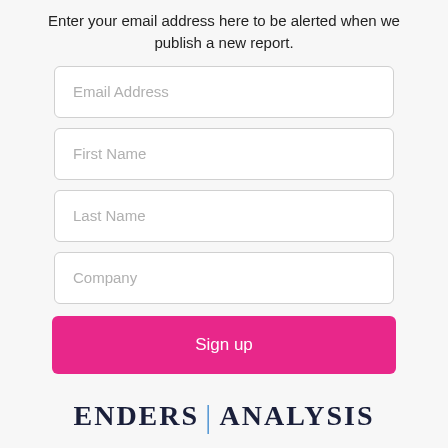Enter your email address here to be alerted when we publish a new report.
[Figure (screenshot): Email signup form with fields for Email Address, First Name, Last Name, Company, and a Sign up button in pink/magenta color]
[Figure (logo): Enders Analysis logo with serif text and blue vertical divider bar]
[Figure (infographic): Three circular social media icons: Vimeo (dark blue), Twitter (light blue), LinkedIn (blue)]